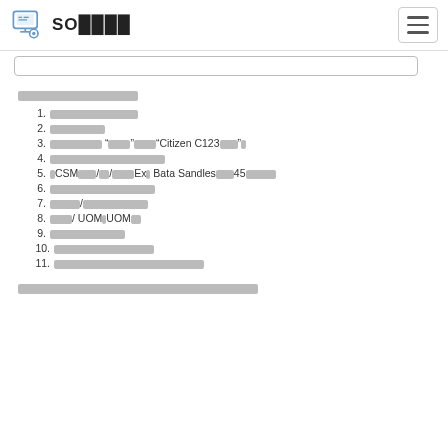SO▪▪▪▪
▪▪▪▪▪▪▪▪▪▪▪▪▪▪
1. ▪▪▪▪▪▪▪▪▪▪▪▪
2. ▪▪▪▪▪▪▪
3. ▪▪▪▪▪▪▪▪▪"▪▪▪"▪▪▪▪▪"Citizen C123▪▪▪"▪
4. ▪▪▪▪▪▪▪▪▪▪▪▪▪▪▪
5. ▪CSM▪▪▪/▪▪/▪▪▪▪▪Ex▪ Bata Sandles▪▪▪45▪▪▪▪▪
6. ▪▪▪▪▪▪▪▪▪▪▪▪▪▪
7. ▪▪▪▪/▪▪▪▪▪▪▪▪▪
8. ▪▪▪/ UOM▪UOM▪▪
9. ▪▪▪▪▪▪▪▪▪▪
10. ▪▪▪▪▪▪▪▪▪▪▪▪▪▪
11. ▪▪▪▪▪▪▪▪▪▪▪▪▪▪▪▪▪▪▪▪▪
▪▪▪▪▪▪▪▪▪▪▪▪▪▪▪▪▪▪▪▪▪▪▪▪▪▪▪▪▪▪▪